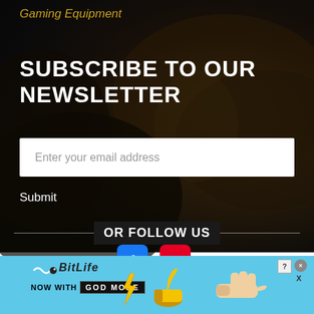Gaming Equipment
SUBSCRIBE TO OUR NEWSLETTER
Enter your email address
Submit
OR FOLLOW US
[Figure (screenshot): Advertisement banner for BitLife game with text 'NOW WITH GOD MODE' on a light blue background with cartoon hands and thumbs up icons]